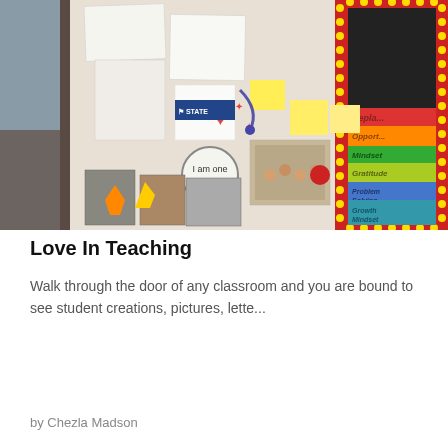[Figure (photo): Classroom bulletin board covered with student artwork, drawings, photos, sticky notes, and a colorful chart showing labels: Repl..., Opport..., Mindset, Gratitude, Problem Solving, Growth Mindset. A circular sign reads 'I am one'.]
Love In Teaching
Walk through the door of any classroom and you are bound to see student creations, pictures, lette...
by Chezla Madson